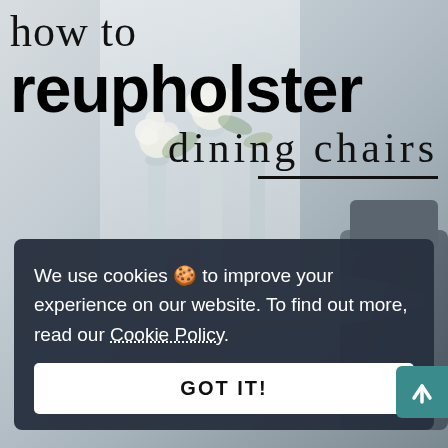[Figure (photo): Background photo of a dining area with white flowers in glass vases on a table, soft light from a window, and a dark upholstered chair visible on the right side. The overall tone is light grey and muted.]
how to reupholster dining chairs
We use cookies 🍪 to improve your experience on our website. To find out more, read our Cookie Policy.
GOT IT!